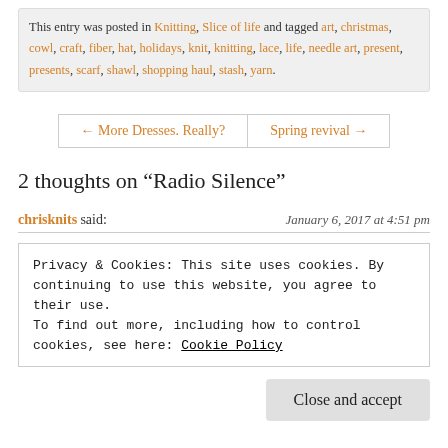This entry was posted in Knitting, Slice of life and tagged art, christmas, cowl, craft, fiber, hat, holidays, knit, knitting, lace, life, needle art, present, presents, scarf, shawl, shopping haul, stash, yarn.
← More Dresses. Really?
Spring revival →
2 thoughts on “Radio Silence”
chrisknits said:   January 6, 2017 at 4:51 pm
Privacy & Cookies: This site uses cookies. By continuing to use this website, you agree to their use. To find out more, including how to control cookies, see here: Cookie Policy
Close and accept